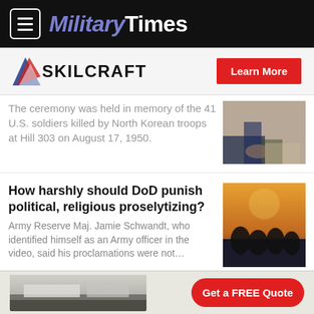Military Times
[Figure (logo): SKILCRAFT logo with red/blue chevron icon and Learn More button]
The ceremony was held in memory of the 41 U.S. soldiers killed by North Korean troops at Hill 303 on August 17, 1950.
[Figure (photo): Ceremony photo with military uniforms visible at bottom]
How harshly should DoD punish political, religious proselytizing?
Army Reserve Maj. Jamie Schwandt, who identified himself as an Army officer in the video, said his proclamations were not...
[Figure (photo): Silhouettes of people against sunset sky]
Leyte Gulf sailor who died is identified by Navy
[Figure (photo): American flag image]
[Figure (photo): Kitchen interior with Get a FREE Quote button ad]